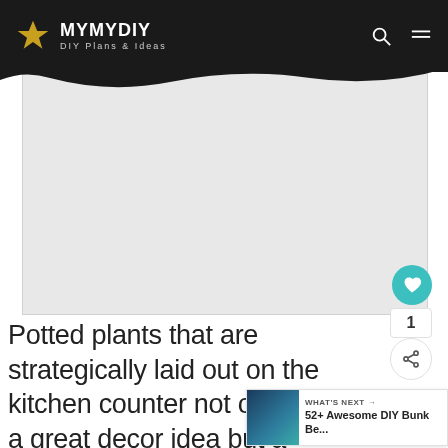MYMYDIY — DIY Plans & Ideas
[Figure (photo): Large rectangular image placeholder (gray) showing a kitchen counter with potted plants]
Potted plants that are strategically laid out on the kitchen counter not only make it a great decor idea but a enhancement that has medical benefits